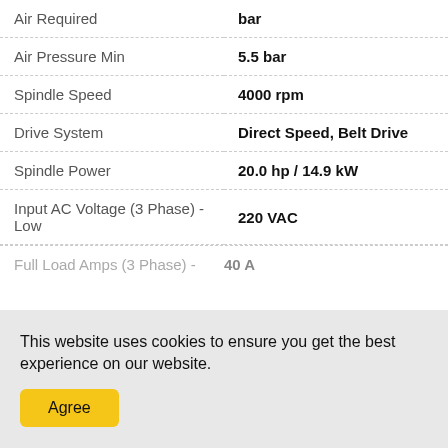| Specification | Value |
| --- | --- |
| Air Required | bar |
| Air Pressure Min | 5.5 bar |
| Spindle Speed | 4000 rpm |
| Drive System | Direct Speed, Belt Drive |
| Spindle Power | 20.0 hp / 14.9 kW |
| Input AC Voltage (3 Phase) - Low | 220 VAC |
This website uses cookies to ensure you get the best experience on our website.
Agree